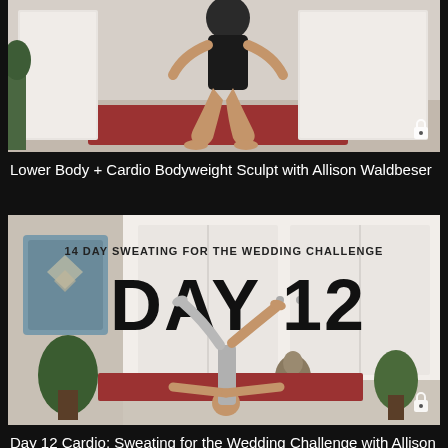[Figure (photo): Person doing a squat exercise on a red mat in a bright room with white doors]
Lower Body + Cardio Bodyweight Sculpt with Allison Waldbeser
[Figure (photo): Person doing a handstand on a red mat in a home setting. Text overlay reads '14 DAY SWEATING FOR THE WEDDING CHALLENGE' and 'DAY 12']
Day 12 Cardio: Sweating for the Wedding Challenge with Allison Waldbeser